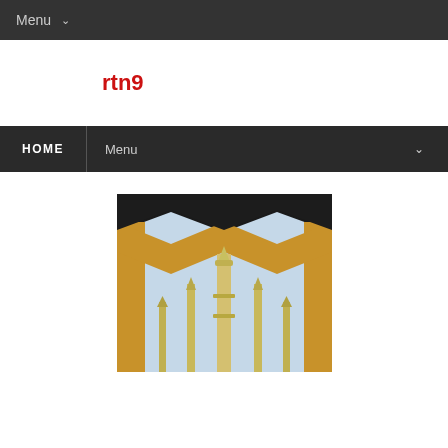Menu ∨
rtn9
HOME | Menu ∨
[Figure (photo): A mosque with minarets viewed through a decorative golden star-shaped frame against a blue sky]